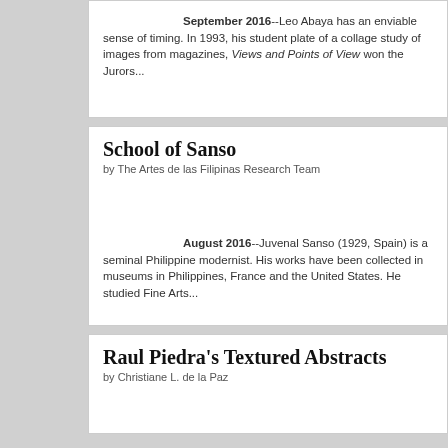September 2016--Leo Abaya has an enviable sense of timing. In 1993, his student plate of a collage study of images from magazines, Views and Points of View won the Jurors...
School of Sanso
by The Artes de las Filipinas Research Team
August 2016--Juvenal Sanso (1929, Spain) is a seminal Philippine modernist. His works have been collected in museums in Philippines, France and the United States. He studied Fine Arts...
Raul Piedra's Textured Abstracts
by Christiane L. de la Paz